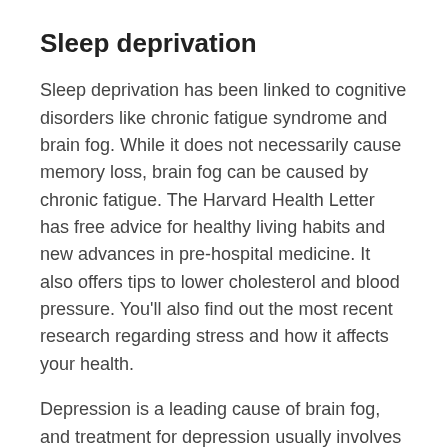Sleep deprivation
Sleep deprivation has been linked to cognitive disorders like chronic fatigue syndrome and brain fog. While it does not necessarily cause memory loss, brain fog can be caused by chronic fatigue. The Harvard Health Letter has free advice for healthy living habits and new advances in pre-hospital medicine. It also offers tips to lower cholesterol and blood pressure. You'll also find out the most recent research regarding stress and how it affects your health.
Depression is a leading cause of brain fog, and treatment for depression usually involves prescribed medication and various therapy techniques. Sleeping enough at night is a key